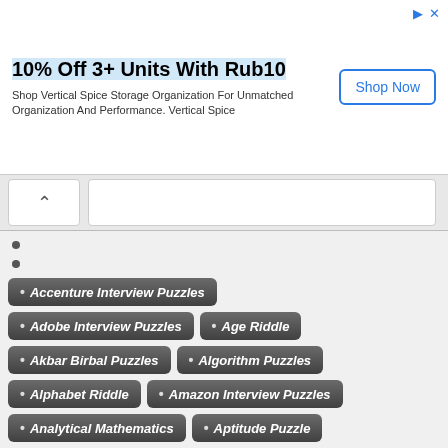[Figure (screenshot): Advertisement banner: 10% Off 3+ Units With Rub10. Shop Vertical Spice Storage Organization For Unmatched Organization And Performance. Vertical Spice. Shop Now button.]
[Figure (screenshot): Navigation bar with back chevron arrow and search bar]
Accenture Interview Puzzles
Adobe Interview Puzzles
Age Riddle
Akbar Birbal Puzzles
Algorithm Puzzles
Alphabet Riddle
Amazon Interview Puzzles
Analytical Mathematics
Aptitude Puzzle
Bank Puzzles
Betting Puzzles
Brain Teasers
Calendar Puzzles
Cards Puzzles
Chess Board Puzzle
Chess Puzzles
Christmas Puzzle